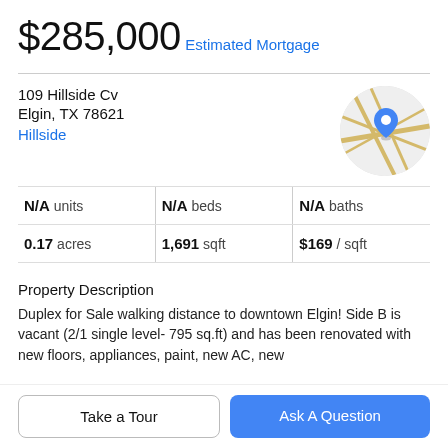$285,000
Estimated Mortgage
109 Hillside Cv
Elgin, TX 78621
Hillside
[Figure (map): Circular map thumbnail showing street map with blue location pin marker for 109 Hillside Cv, Elgin TX]
| N/A units | N/A beds | N/A baths |
| 0.17 acres | 1,691 sqft | $169 / sqft |
Property Description
Duplex for Sale walking distance to downtown Elgin! Side B is vacant (2/1 single level- 795 sq.ft) and has been renovated with new floors, appliances, paint, new AC, new
Take a Tour
Ask A Question